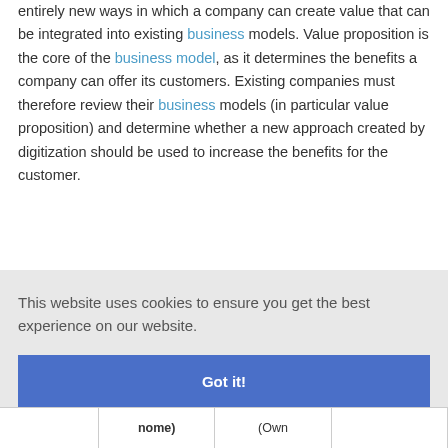entirely new ways in which a company can create value that can be integrated into existing business models. Value proposition is the core of the business model, as it determines the benefits a company can offer its customers. Existing companies must therefore review their business models (in particular value proposition) and determine whether a new approach created by digitization should be used to increase the benefits for the customer.
This website uses cookies to ensure you get the best experience on our website.
Got it!